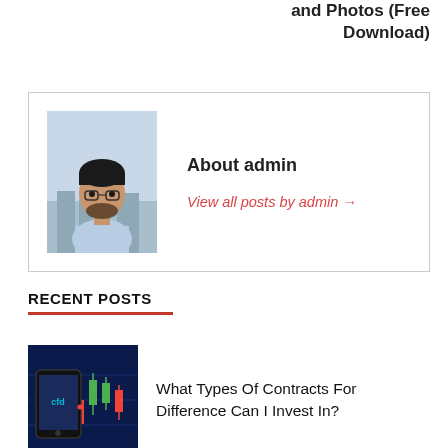and Photos (Free Download)
[Figure (photo): Photo of admin — a man wearing glasses and a light blue shirt, standing outdoors with a cityscape background]
About admin
View all posts by admin →
RECENT POSTS
[Figure (photo): Thumbnail for CFD article — dark blue background with candlestick chart and a phone/tablet showing 'cfd']
What Types Of Contracts For Difference Can I Invest In?